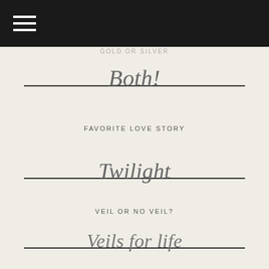[hamburger menu] [logo]
GOLD OR SILVER
Both!
FAVORITE LOVE STORY
Twilight
VEIL OR NO VEIL?
Veils for life